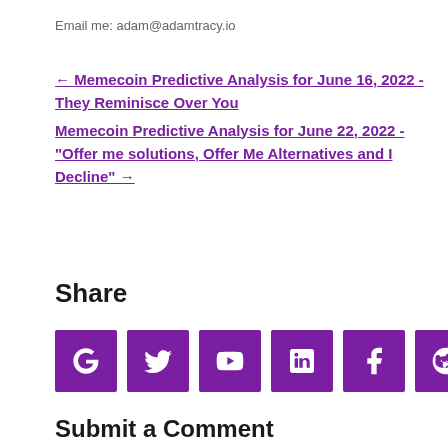Email me: adam@adamtracy.io
← Memecoin Predictive Analysis for June 16, 2022 - They Reminisce Over You
Memecoin Predictive Analysis for June 22, 2022 - "Offer me solutions, Offer Me Alternatives and I Decline" →
Share
[Figure (other): Social media share icons: Google, Twitter, YouTube, LinkedIn, Facebook, Reddit, Medium]
Submit a Comment